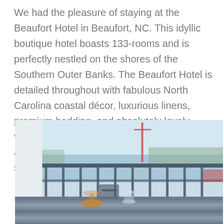We had the pleasure of staying at the Beaufort Hotel in Beaufort, NC. This idyllic boutique hotel boasts 133-rooms and is perfectly nestled on the shores of the Southern Outer Banks. The Beaufort Hotel is detailed throughout with fabulous North Carolina coastal décor, luxurious linens, premium bedding, and absolutely lovely views of the Atlantic coastline. This hotel also features a state-of-the-art fitness center, swimming pool and a full-service marina.
[Figure (photo): Outdoor deck or balcony scene at the Beaufort Hotel, showing a striped table in the foreground with a glass of wine/drink, chairs, a railing, and a waterfront view with a sailboat mast visible in the background under a light blue sky.]